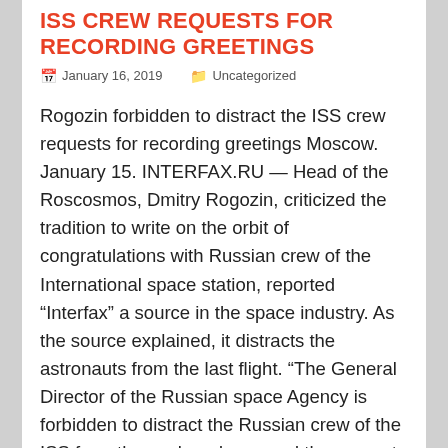ISS CREW REQUESTS FOR RECORDING GREETINGS
January 16, 2019   Uncategorized
Rogozin forbidden to distract the ISS crew requests for recording greetings Moscow. January 15. INTERFAX.RU — Head of the Roscosmos, Dmitry Rogozin, criticized the tradition to write on the orbit of congratulations with Russian crew of the International space station, reported “Interfax” a source in the space industry. As the source explained, it distracts the astronauts from the last flight. “The General Director of the Russian space Agency is forbidden to distract the Russian crew of the ISS from the work and opposed the requests